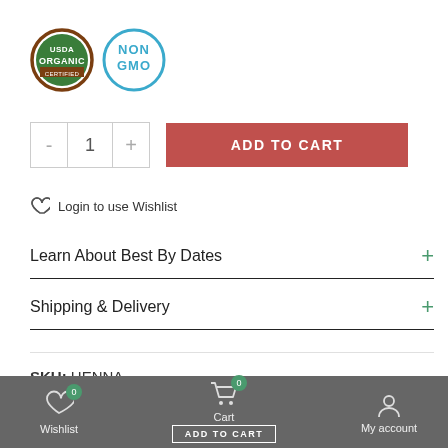[Figure (logo): USDA Organic and Non GMO certification badges]
[Figure (screenshot): Quantity selector with minus, 1, plus buttons and red Add To Cart button]
Login to use Wishlist
Learn About Best By Dates +
Shipping & Delivery +
SKU: HENNA
Wishlist 0  Cart 0 ADD TO CART  My account